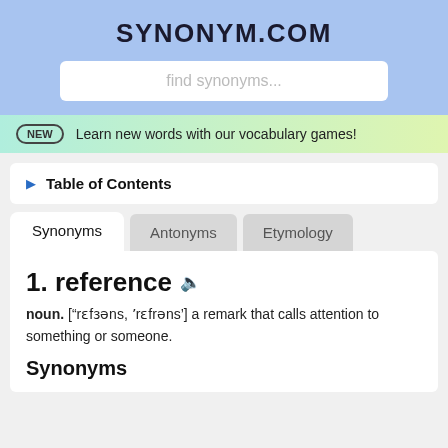SYNONYM.COM
find synonyms...
NEW  Learn new words with our vocabulary games!
Table of Contents
Synonyms  Antonyms  Etymology
1. reference 🔊
noun. ["rɛfɜəns, 'rɛfrəns'] a remark that calls attention to something or someone.
Synonyms